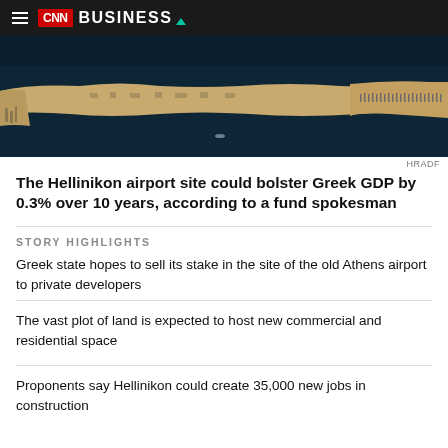CNN BUSINESS
[Figure (photo): Aerial view of Hellinikon airport site along a coastline, showing a peninsula with marina and water surrounding it.]
HRADF
The Hellinikon airport site could bolster Greek GDP by 0.3% over 10 years, according to a fund spokesman
STORY HIGHLIGHTS
Greek state hopes to sell its stake in the site of the old Athens airport to private developers
The vast plot of land is expected to host new commercial and residential space
Proponents say Hellinikon could create 35,000 new jobs in construction